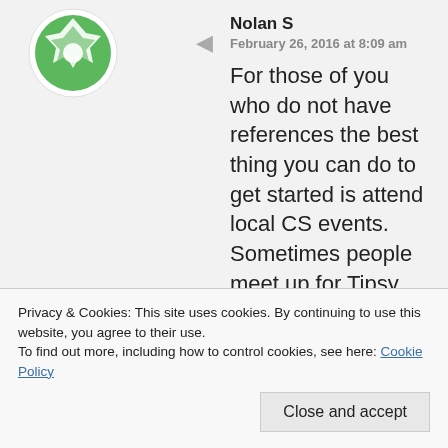[Figure (logo): Green and white geometric avatar/logo icon, circular with diamond pattern]
Nolan S
February 26, 2016 at 8:09 am
For those of you who do not have references the best thing you can do to get started is attend local CS events. Sometimes people meet up for Tipsy Tuesdays, Taco Tuesdays, Trivia nights, hiking excursions, couch crashes, etc. Once you meet your local CS members ask them to leave you a reference and be sure to always
Privacy & Cookies: This site uses cookies. By continuing to use this website, you agree to their use.
To find out more, including how to control cookies, see here: Cookie Policy
Close and accept